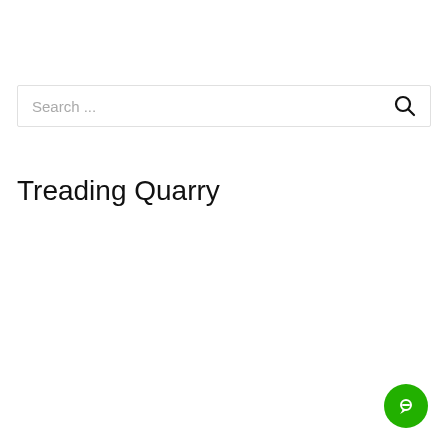[Figure (other): Search bar with placeholder text 'Search ...' and a search icon on the right]
Treading Quarry
[Figure (other): Green circular chat/messaging button in the bottom-right corner]